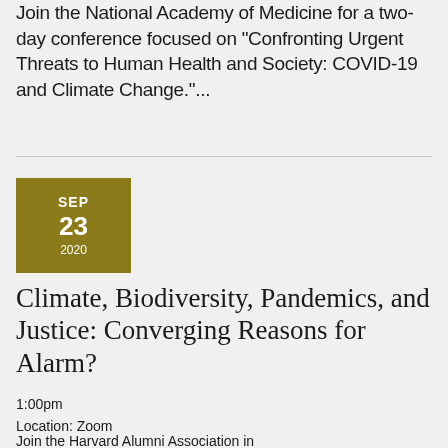Join the National Academy of Medicine for a two-day conference focused on "Confronting Urgent Threats to Human Health and Society: COVID-19 and Climate Change."...
[Figure (other): Olive/dark yellow square date badge showing SEP 23 2020]
Climate, Biodiversity, Pandemics, and Justice: Converging Reasons for Alarm?
1:00pm
Location: Zoom
Join the Harvard Alumni Association in